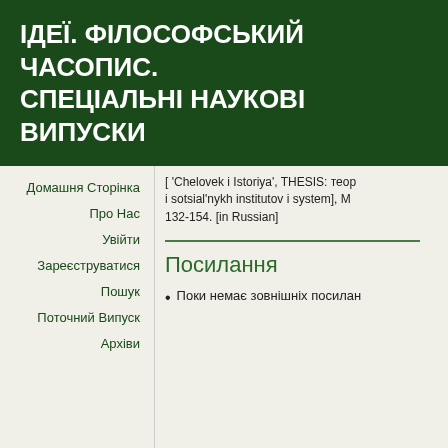ІДЕЇ. ФІЛОСОФСЬКИЙ ЧАСОПИС. СПЕЦІАЛЬНІ НАУКОВІ ВИПУСКИ
[ 'Chelovek i Istoriya', THESIS: teori i sotsial'nykh institutov i system], M 132-154. [in Russian]
Домашня Сторінка
Про Нас
Увійти
Зареєструватися
Пошук
Поточний Випуск
Архіви
Посилання
Поки немає зовнішніх посилан